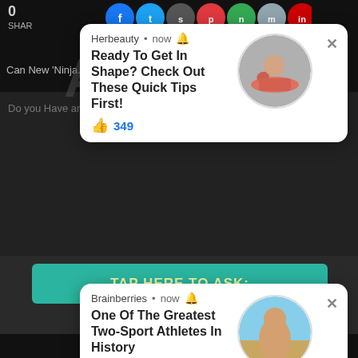0
SHARE
[Figure (screenshot): Row of social media sharing icons (circles in blue, dark, red, green, gray, red, blue colors) at the top of the page]
Can New 'Ninja... nd Us All Back...
[Figure (screenshot): ASK US watermark text overlaid on dark background]
[Figure (screenshot): Notification card from Herbeauty. Source: Herbeauty • now (bell icon). Title: Ready To Get In Shape? Check Out These Quick Tips First! Likes: 349. Circular photo of person doing pushup in pink top.]
[Figure (screenshot): Notification card from Brainberries. Source: Brainberries • now (bell icon). Title: One Of The Greatest Two-Sport Athletes In History. Likes: 529. Circular photo of person at beach.]
TAP HERE TO ASK:
No Thanks!